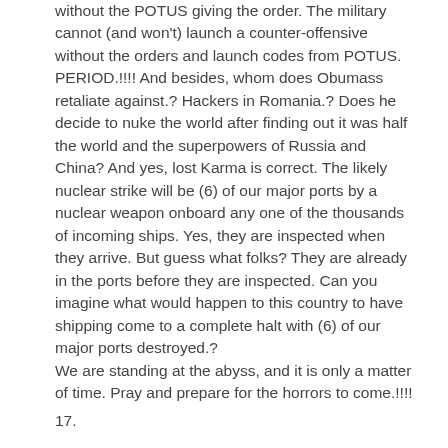without the POTUS giving the order. The military cannot (and won't) launch a counter-offensive without the orders and launch codes from POTUS. PERIOD.!!!! And besides, whom does Obumass retaliate against.? Hackers in Romania.? Does he decide to nuke the world after finding out it was half the world and the superpowers of Russia and China? And yes, lost Karma is correct. The likely nuclear strike will be (6) of our major ports by a nuclear weapon onboard any one of the thousands of incoming ships. Yes, they are inspected when they arrive. But guess what folks? They are already in the ports before they are inspected. Can you imagine what would happen to this country to have shipping come to a complete halt with (6) of our major ports destroyed.?
We are standing at the abyss, and it is only a matter of time. Pray and prepare for the horrors to come.!!!!
17.